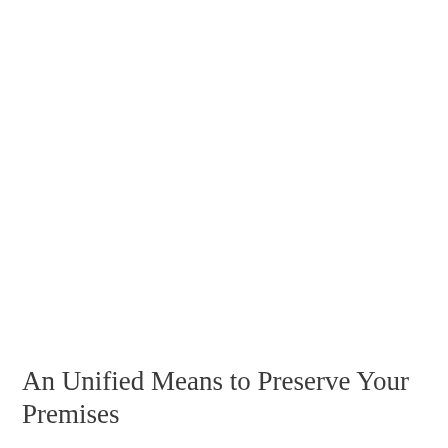An Unified Means to Preserve Your Premises